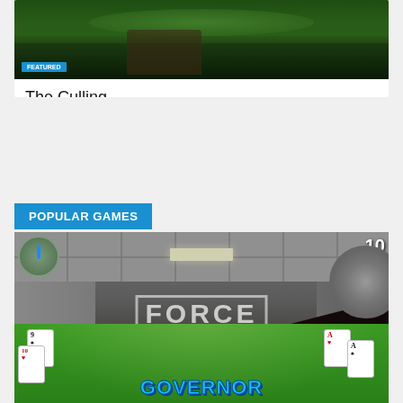[Figure (screenshot): The Culling game screenshot showing jungle/forest environment]
The Culling
POPULAR GAMES
[Figure (screenshot): Bullet Force first-person shooter game screenshot with logo overlay text 'BULLET FORCE']
Bullet Force
[Figure (screenshot): Governor of Poker card game screenshot with playing cards and green background]